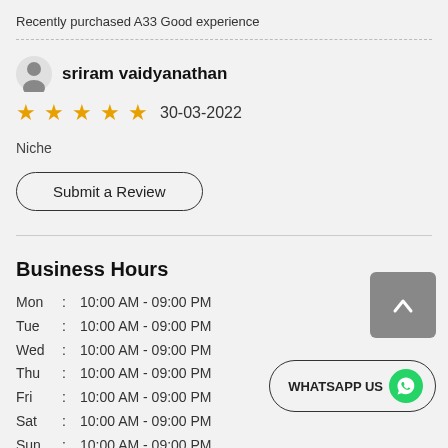Recently purchased A33 Good experience
sriram vaidyanathan
★★★★★  30-03-2022
Niche
Submit a Review
Business Hours
| Day | Hours |
| --- | --- |
| Mon | 10:00 AM - 09:00 PM |
| Tue | 10:00 AM - 09:00 PM |
| Wed | 10:00 AM - 09:00 PM |
| Thu | 10:00 AM - 09:00 PM |
| Fri | 10:00 AM - 09:00 PM |
| Sat | 10:00 AM - 09:00 PM |
| Sun | 10:00 AM - 09:00 PM |